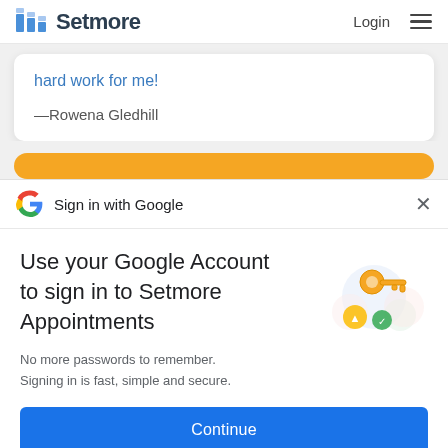Setmore | Login
hard work for me!
—Rowena Gledhill
[Figure (screenshot): Yellow button strip (partially visible/cropped)]
[Figure (screenshot): Sign in with Google dialog header with Google G logo and X close button]
Use your Google Account to sign in to Setmore Appointments
No more passwords to remember. Signing in is fast, simple and secure.
[Figure (illustration): Google key and security icons illustration]
Continue